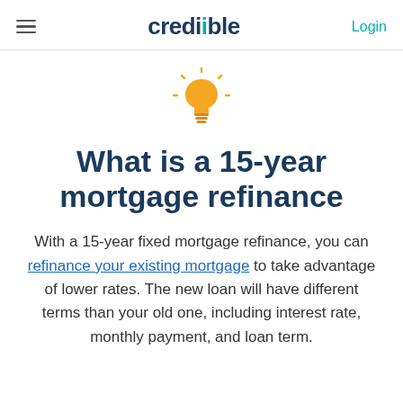credible | Login
[Figure (illustration): Yellow lightbulb icon with rays, suggesting a tip or insight]
What is a 15-year mortgage refinance
With a 15-year fixed mortgage refinance, you can refinance your existing mortgage to take advantage of lower rates. The new loan will have different terms than your old one, including interest rate, monthly payment, and loan term.